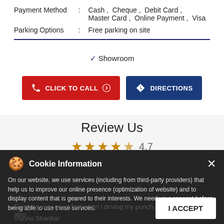| Payment Method | : | Cash ,  Cheque ,  Debit Card ,
Master Card ,  Online Payment ,  Visa |
| Parking Options | : | Free parking on site |
✓ Showroom
CLICK TO CALL
DIRECTIONS
Review Us
4.7
Cookie Information
On our website, we use services (including from third-party providers) that help us to improve our online presence (optimization of website) and to display content that is geared to their interests. We need your consent before being able to use these services.
Enjoying very good feel when i driving my punch and too exitment also
Vishnu Shankar
I ACCEPT